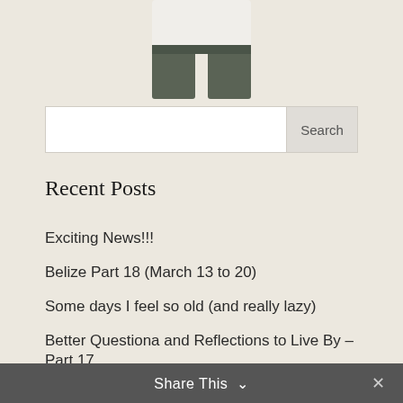[Figure (photo): Partial view of a person from mid-torso down, wearing a white shirt and dark olive/grey jeans, centered in the upper portion of the page]
Search
Recent Posts
Exciting News!!!
Belize Part 18 (March 13 to 20)
Some days I feel so old (and really lazy)
Better Questiona and Reflections to Live By – Part 17
Belize Part 17 (March 5 to 12)
Share This ∨  ✕
Categories